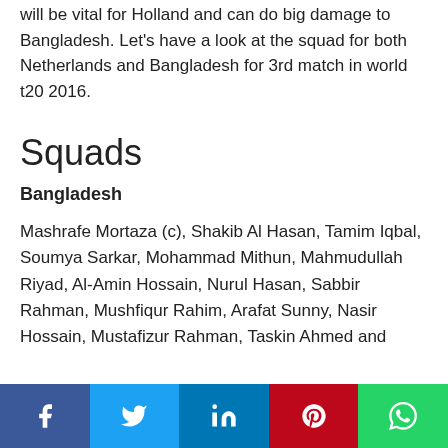will be vital for Holland and can do big damage to Bangladesh. Let's have a look at the squad for both Netherlands and Bangladesh for 3rd match in world t20 2016.
Squads
Bangladesh
Mashrafe Mortaza (c), Shakib Al Hasan, Tamim Iqbal, Soumya Sarkar, Mohammad Mithun, Mahmudullah Riyad, Al-Amin Hossain, Nurul Hasan, Sabbir Rahman, Mushfiqur Rahim, Arafat Sunny, Nasir Hossain, Mustafizur Rahman, Taskin Ahmed and
Facebook Twitter LinkedIn Pinterest WhatsApp